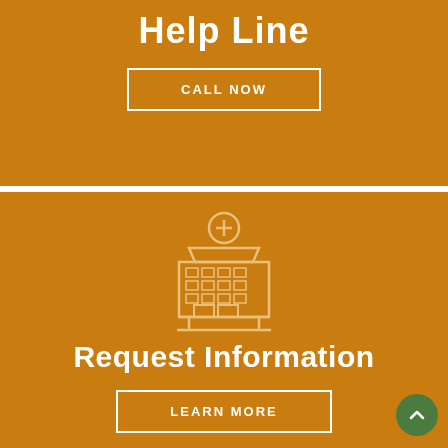Help Line
CALL NOW
[Figure (illustration): Hospital building icon with a medical cross on the roof, outlined in white on an orange background]
Request Information
LEARN MORE